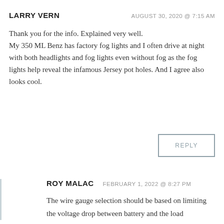LARRY VERN
AUGUST 30, 2020 @ 7:15 AM
Thank you for the info. Explained very well.
My 350 ML Benz has factory fog lights and I often drive at night with both headlights and fog lights even without fog as the fog lights help reveal the infamous Jersey pot holes. And I agree also looks cool.
REPLY
ROY MALAC
FEBRUARY 1, 2022 @ 8:27 PM
The wire gauge selection should be based on limiting the voltage drop between battery and the load